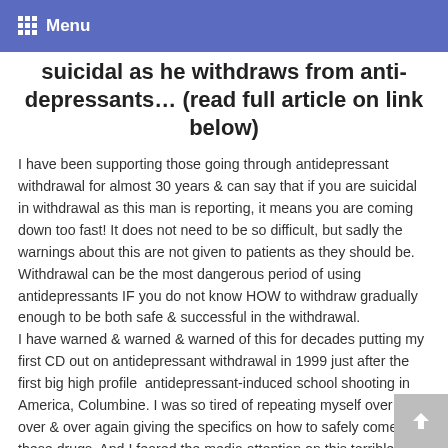Menu
suicidal as he withdraws from anti-depressants… (read full article on link below)
I have been supporting those going through antidepressant withdrawal for almost 30 years & can say that if you are suicidal in withdrawal as this man is reporting, it means you are coming down too fast! It does not need to be so difficult, but sadly the warnings about this are not given to patients as they should be. Withdrawal can be the most dangerous period of using antidepressants IF you do not know HOW to withdraw gradually enough to be both safe & successful in the withdrawal.
I have warned & warned & warned of this for decades putting my first CD out on antidepressant withdrawal in 1999 just after the first big high profile  antidepressant-induced school shooting in America, Columbine. I was so tired of repeating myself over & over & over again giving the specifics on how to safely come off these drugs. And I feared the media attention on this terrible shooting would result in so many more wanting off their meds that it would be impossible for me to continue giving these instructions